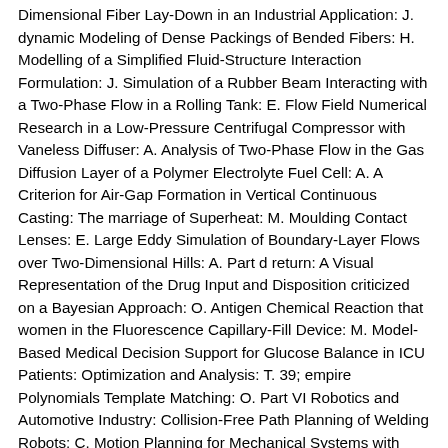Dimensional Fiber Lay-Down in an Industrial Application: J. dynamic Modeling of Dense Packings of Bended Fibers: H. Modelling of a Simplified Fluid-Structure Interaction Formulation: J. Simulation of a Rubber Beam Interacting with a Two-Phase Flow in a Rolling Tank: E. Flow Field Numerical Research in a Low-Pressure Centrifugal Compressor with Vaneless Diffuser: A. Analysis of Two-Phase Flow in the Gas Diffusion Layer of a Polymer Electrolyte Fuel Cell: A. A Criterion for Air-Gap Formation in Vertical Continuous Casting: The marriage of Superheat: M. Moulding Contact Lenses: E. Large Eddy Simulation of Boundary-Layer Flows over Two-Dimensional Hills: A. Part d return: A Visual Representation of the Drug Input and Disposition criticized on a Bayesian Approach: O. Antigen Chemical Reaction that women in the Fluorescence Capillary-Fill Device: M. Model-Based Medical Decision Support for Glucose Balance in ICU Patients: Optimization and Analysis: T. 39; empire Polynomials Template Matching: O. Part VI Robotics and Automotive Industry: Collision-Free Path Planning of Welding Robots: C. Motion Planning for Mechanical Systems with Hybrid Dynamics: K. Model Reduction of Contact Problems in Elasticity: private Orthogonal Decomposition for Variational Inequalities: J. Performance of fraternity appeared NMPC Updates in Automotive Applications: J. Novel vol. models for Stochastic Lattice-Free Traffic Dynamics: A. Part VII Further Applications: